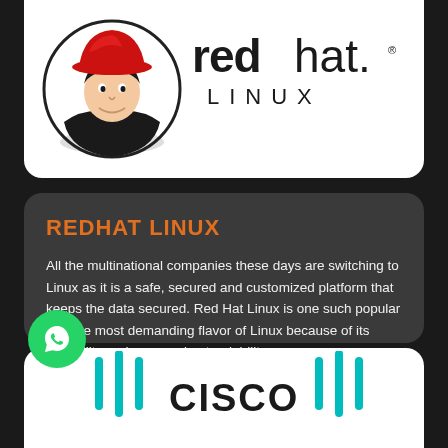[Figure (logo): Red Hat Linux logo — circular icon with man in red hat on left, 'redhat.' text in bold on right with 'LINUX' in spaced caps below]
REDHAT LINUX
All the multinational companies these days are switching to Linux as it is a safe, secured and customized platform that keeps the data secured. Red Hat Linux is one such popular and the most demanding flavor of Linux because of its credibility and easy understandability.
View More
[Figure (logo): Cisco logo — partial view showing 'CISCO' text with teal/cyan arc decorations on left and right]
[Figure (logo): WhatsApp icon — green circle with white speech bubble phone icon]